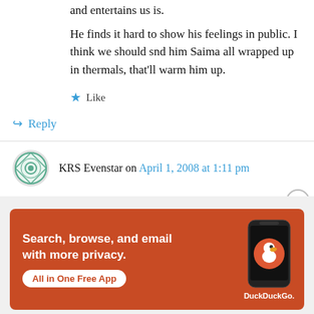and entertains us is.
He finds it hard to show his feelings in public. I think we should snd him Saima all wrapped up in thermals, that’ll warm him up.
★ Like
↪ Reply
KRS Evenstar on April 1, 2008 at 1:11 pm
Hi OldeWalde! I can’t remember what ITV said, but meh – it’s not the first time, even Martin
Advertisements
[Figure (infographic): DuckDuckGo advertisement banner: orange background with text 'Search, browse, and email with more privacy. All in One Free App' and a phone showing the DuckDuckGo logo]